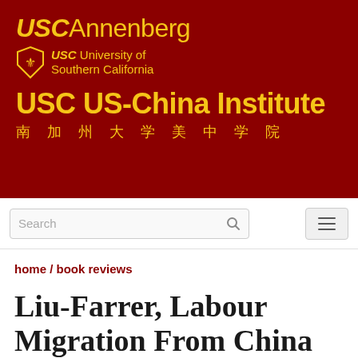[Figure (logo): USC Annenberg and USC University of Southern California logo on dark red background with USC US-China Institute title and Chinese subtitle]
home / book reviews
Liu-Farrer, Labour Migration From China To Japan: International Studies, Transnational Migrants, 2011